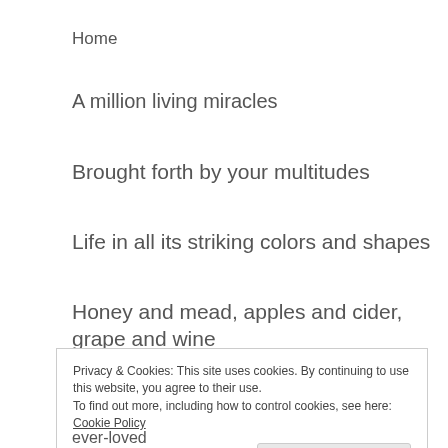Home
A million living miracles
Brought forth by your multitudes
Life in all its striking colors and shapes
Honey and mead, apples and cider, grape and wine
Privacy & Cookies: This site uses cookies. By continuing to use this website, you agree to their use.
To find out more, including how to control cookies, see here: Cookie Policy
Close and accept
ever-loved